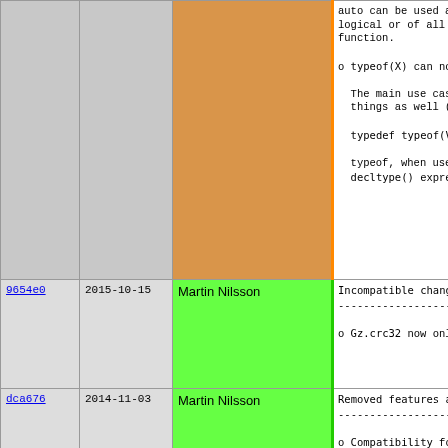| hash | date | author | description |
| --- | --- | --- | --- |
|  |  |  | auto can be used as
logical or of all t
function.

o typeof(X) can now b

  The main use case
  things as well (as

  typedef typeof(Val

  typeof, when used
  decltype() expressi |
| 9654e0 | 2015-10-15 | Martin Nilsson | Incompatible changes
--------------------

o Gz.crc32 now only m |
| dca676 | 2014-11-03 | Martin Nilsson | Removed features and
--------------------

o Compatibility for M |
| a72ec6 | 2016-01-04 | Per Hedbor | o GTK1 library is dep |
| 951b44 | 2016-01-04 | Martin Nilsson | New modules |